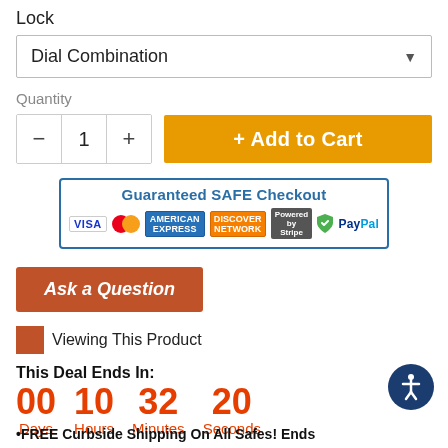Lock
Dial Combination
Quantity
+ Add to Cart
[Figure (infographic): Guaranteed SAFE Checkout badge with payment icons: VISA, MasterCard, American Express, Discover, Stripe, Norton, PayPal]
Ask a Question
Viewing This Product
This Deal Ends In:
00 Days  10 Hours  32 Minutes  20 Seconds
•FREE Curbside Shipping On All Safes! Ends